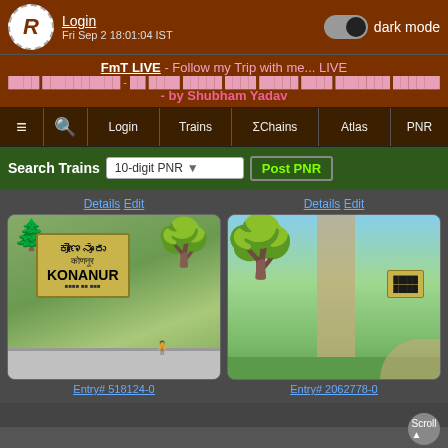Login  Fri Sep 2 18:01:04 IST  dark mode
FmT LIVE - Follow my Trip with me... LIVE - by Shubham Yadav
≡  🔍  Login  Trains  ΣChains  Atlas  PNR
Search Trains  10-digit PNR  Post PNR
Details Edit
[Figure (photo): Railway station sign board showing KONANUR in Kannada, Hindi and English scripts, with trees and fence in background]
Entry# 518124-0
Details Edit
[Figure (photo): Railway station area with tree, path and yellow sign board in background with green surroundings]
Entry# 2062778-0